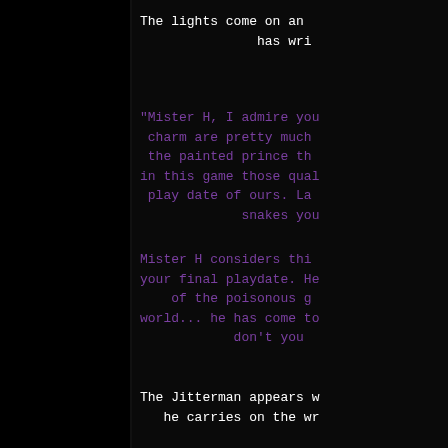The lights come on an... has writ...
"Mister H, I admire you... charm are pretty much... the painted prince th... in this game those qual... play date of ours. La... snakes you...
Mister H considers thi... your final playdate. He... of the poisonous g... world... he has come to... don't you...
The Jitterman appears w... he carries on the wr...
I belong in that deep... that part of you whic... Mis...
The part you choose...
I am tHe JiTTERMan, RE...
The Jitterman leaves...